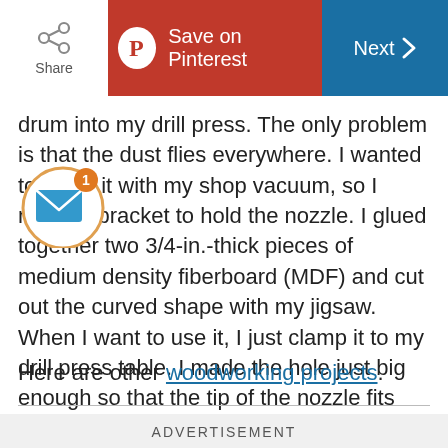Share | Save on Pinterest | Next
[Figure (screenshot): Email notification icon with envelope and badge showing '1']
drum into my drill press. The only problem is that the dust flies everywhere. I wanted to catch it with my shop vacuum, so I made a bracket to hold the nozzle. I glued together two 3/4-in.-thick pieces of medium density fiberboard (MDF) and cut out the curved shape with my jigsaw. When I want to use it, I just clamp it to my drill press table. I made the hole just big enough so that the tip of the nozzle fits snugly. — reader Doug Kaczmarek
Here are other woodworking projects.
ADVERTISEMENT